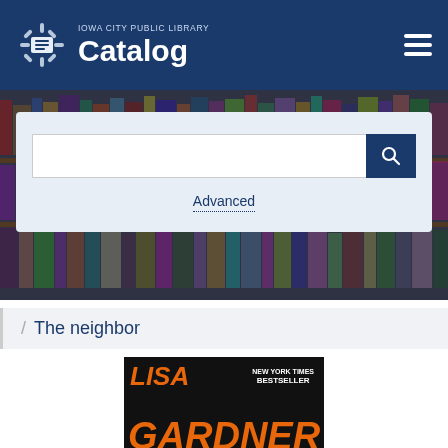IOWA CITY PUBLIC LIBRARY Catalog
[Figure (screenshot): Library search interface with bookshelf background image and search bar]
Advanced
/ The neighbor
[Figure (photo): Book cover for Lisa Gardner - New York Times Bestseller - The Neighbor]